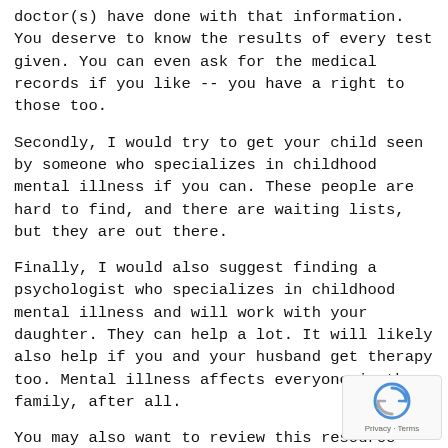doctor(s) have done with that information. You deserve to know the results of every test given. You can even ask for the medical records if you like -- you have a right to those too.
Secondly, I would try to get your child seen by someone who specializes in childhood mental illness if you can. These people are hard to find, and there are waiting lists, but they are out there.
Finally, I would also suggest finding a psychologist who specializes in childhood mental illness and will work with your daughter. They can help a lot. It will likely also help if you and your husband get therapy too. Mental illness affects everyone in the family, after all.
You may also want to review this resource (not affiliated with HealthyPlace): https://www.dbsalliance.org/support/for-friends-family/for-parents/